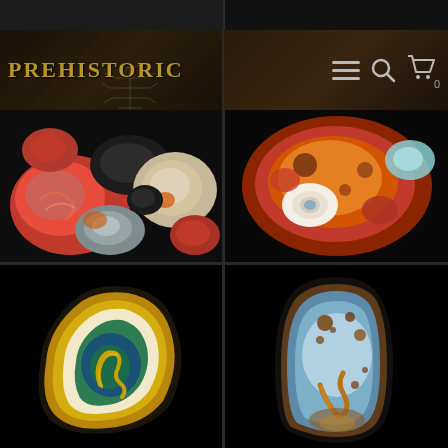[Figure (photo): Dark partial image strip at top left]
[Figure (photo): Dark partial image strip at top right]
[Figure (logo): Prehistoric Store logo with golden text 'PREHISTORIC' and fossil/insect illustration on dark brown background]
[Figure (screenshot): Navigation icons on dark background: hamburger menu, search magnifier, shopping cart with badge showing 0]
[Figure (photo): Polished colorful jasper/agate stones in red, gray, white, orange tones on black background]
[Figure (photo): Close-up of red and orange agate/jasper stone with white oval eye-like inclusion on black background]
[Figure (photo): Polished agate stone with golden-yellow banding and blue-green interior on black background]
[Figure (photo): Polished stone with blue-gray, brown, and caramel coloring on black background]